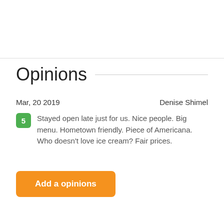Opinions
Mar, 20 2019    Denise Shimel
5  Stayed open late just for us. Nice people. Big menu. Hometown friendly. Piece of Americana. Who doesn't love ice cream? Fair prices.
Add a opinions